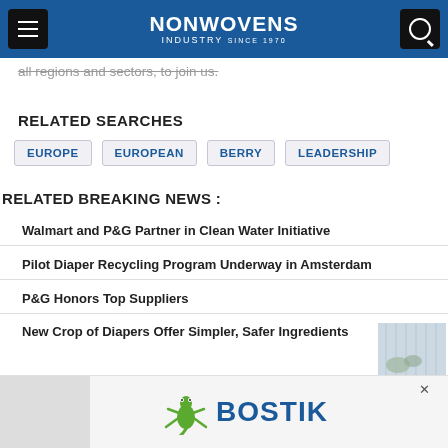NONWOVENS INDUSTRY
all regions and sectors, to join us.
RELATED SEARCHES
EUROPE
EUROPEAN
BERRY
LEADERSHIP
RELATED BREAKING NEWS :
Walmart and P&G Partner in Clean Water Initiative
Pilot Diaper Recycling Program Underway in Amsterdam
P&G Honors Top Suppliers
New Crop of Diapers Offer Simpler, Safer Ingredients
[Figure (screenshot): Bostik advertisement banner with gecko logo]